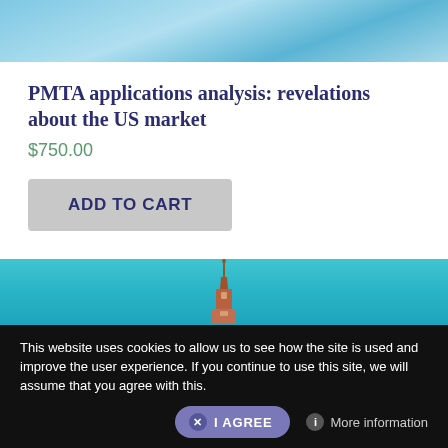[Figure (photo): Top banner image with blue sky gradient background]
PMTA applications analysis: revelations about the US market
$750.00
ADD TO CART
[Figure (photo): Bottom banner image with teal sky and a tower/spire visible at center]
This website uses cookies to allow us to see how the site is used and improve the user experience. If you continue to use this site, we will assume that you agree with this.
I AGREE
More information